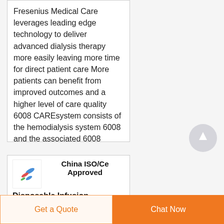Fresenius Medical Care leverages leading edge technology to deliver advanced dialysis therapy more easily leaving more time for direct patient care More patients can benefit from improved outcomes and a higher level of care quality 6008 CAREsystem consists of the hemodialysis system 6008 and the associated 6008
[Figure (other): Circular scroll-to-top button with upward arrow, light gray]
[Figure (photo): Small product thumbnail image showing disposable infusion items on white background]
China ISO/Ce Approved Disposable Infusion
Get a Quote
Chat Now